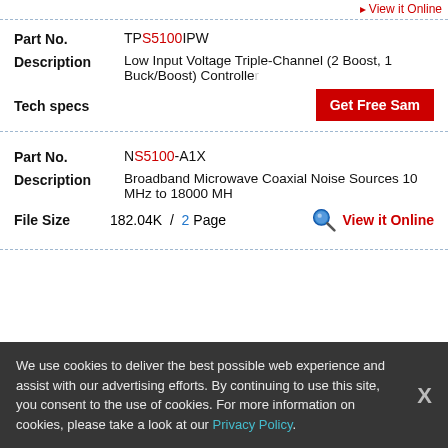▸ View it Online
Part No.    TPS5100IPW
Description    Low Input Voltage Triple-Channel (2 Boost, 1 Buck/Boost) Controller
Tech specs
Get Free Sample
Part No.    NS5100-A1X
Description    Broadband Microwave Coaxial Noise Sources 10 MHz to 18000 MHz
File Size    182.04K  /  2 Page
View it Online
We use cookies to deliver the best possible web experience and assist with our advertising efforts. By continuing to use this site, you consent to the use of cookies. For more information on cookies, please take a look at our Privacy Policy.